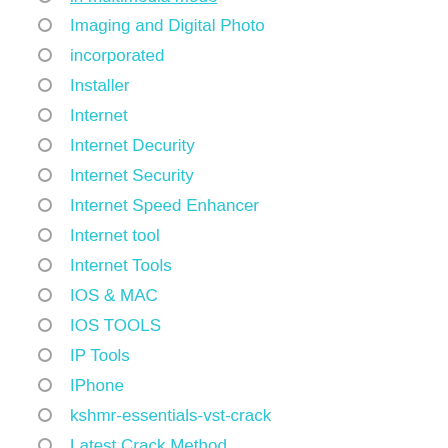in multimedia mode
Imaging and Digital Photo
incorporated
Installer
Internet
Internet Decurity
Internet Security
Internet Speed Enhancer
Internet tool
Internet Tools
IOS & MAC
IOS TOOLS
IP Tools
IPhone
kshmr-essentials-vst-crack
Latest Crack Method